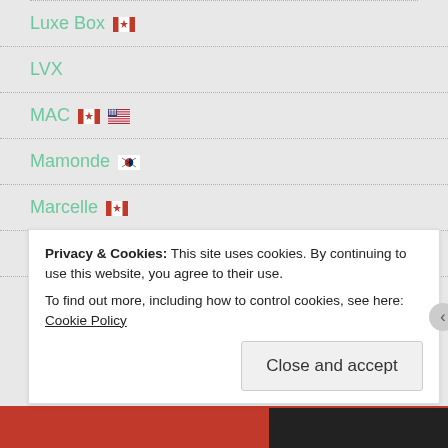Luxe Box 🇨🇦
LVX
MAC 🇨🇦🇺🇸
Mamonde 🇰🇷
Marcelle 🇨🇦
Maybelline 🇺🇸🇫🇷
Meg
Privacy & Cookies: This site uses cookies. By continuing to use this website, you agree to their use. To find out more, including how to control cookies, see here: Cookie Policy
Close and accept